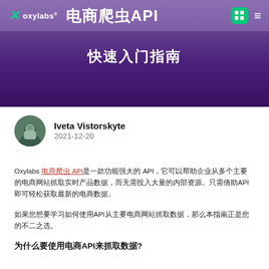oxylabs 电商爬虫API 快速入门指南
Iveta Vistorskyte
2021-12-20
Oxylabs 电商爬虫 API是一款功能强大的 API，它可以帮助企业从多个主要的电商网站抓取实时产品数据，而无需投入大量的内部资源。只需借助 API 即可轻松获取最新的电商数据。
如果您想要学习如何使用API从主要电商网站抓取数据，那么本指南正是您的不二之选。
为什么要使用电商API来抓取数据?